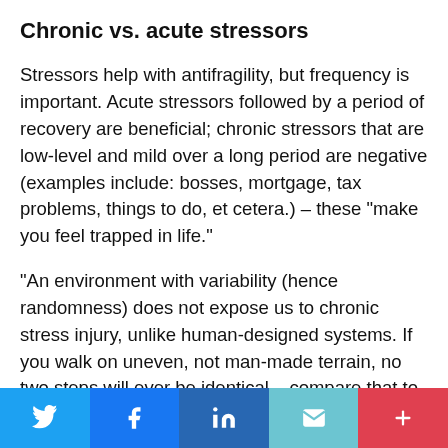Chronic vs. acute stressors
Stressors help with antifragility, but frequency is important. Acute stressors followed by a period of recovery are beneficial; chronic stressors that are low-level and mild over a long period are negative (examples include: bosses, mortgage, tax problems, things to do, et cetera.) – these “make you feel trapped in life.”
“An environment with variability (hence randomness) does not expose us to chronic stress injury, unlike human-designed systems. If you walk on uneven, not man-made terrain, no two steps will ever be identical – compare that to the randomness free gym machine offering
[Figure (infographic): Social sharing bar with Twitter, Facebook, LinkedIn, Email, and More (+) buttons]